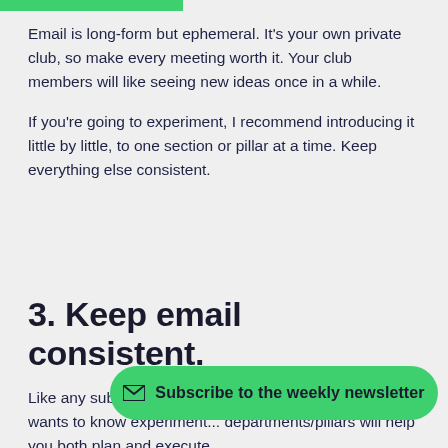Email is long-form but ephemeral. It's your own private club, so make every meeting worth it. Your club members will like seeing new ideas once in a while.

If you're going to experiment, I recommend introducing it little by little, to one section or pillar at a time. Keep everything else consistent.
3. Keep email consistent.
Like any subscription-based product, your audience wants to kno... experiment... departments/pillars will help you both plan and execute
[Figure (other): Green rounded button with envelope icon: Subscribe to the weekly newsletter]